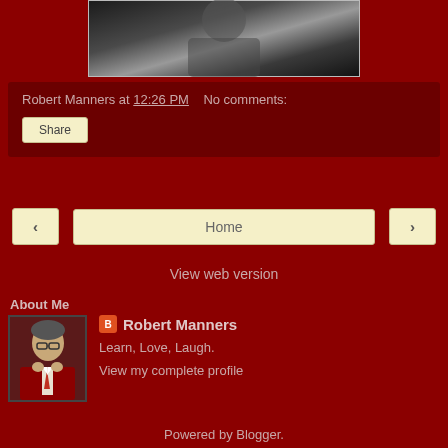[Figure (photo): Person in dark clothing, photo at top of blog page]
Robert Manners at 12:26 PM   No comments:
Share
‹
Home
›
View web version
About Me
[Figure (photo): Profile photo of Robert Manners, man in suit adjusting tie]
Robert Manners
Learn, Love, Laugh.
View my complete profile
Powered by Blogger.